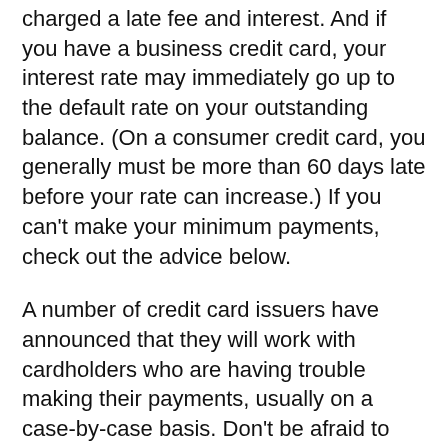charged a late fee and interest. And if you have a business credit card, your interest rate may immediately go up to the default rate on your outstanding balance. (On a consumer credit card, you generally must be more than 60 days late before your rate can increase.) If you can't make your minimum payments, check out the advice below.
A number of credit card issuers have announced that they will work with cardholders who are having trouble making their payments, usually on a case-by-case basis. Don't be afraid to reach out. Keep notes of any conversations you have with them and be sure you understand the impact of any payment arrangements on your credit scores.
To learn more about...